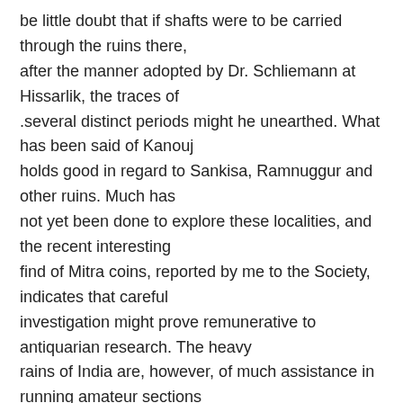be little doubt that if shafts were to be carried through the ruins there, after the manner adopted by Dr. Schliemann at Hissarlik, the traces of .several distinct periods might he unearthed. What has been said of Kanouj holds good in regard to Sankisa, Ramnuggur and other ruins. Much has not yet been done to explore these localities, and the recent interesting find of Mitra coins, reported by me to the Society, indicates that careful investigation might prove remunerative to antiquarian research. The heavy rains of India are, however, of much assistance in running amateur sections through the ruins, and in exposing from time to time relics of more or less interest. Amongst these may be classed the " spindle whorls" now to